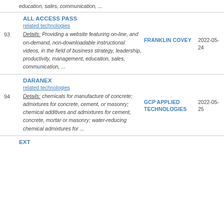education, sales, communication, ...
93 | ALL ACCESS PASS | related technologies | Details: Providing a website featuring on-line, and on-demand, non-downloadable instructional videos, in the field of business strategy, leadership, productivity, management, education, sales, communication, ... | FRANKLIN COVEY | 2022-05-24
94 | DARANEX | related technologies | Details: chemicals for manufacture of concrete; admixtures for concrete, cement, or masonry; chemical additives and admixtures for cement, concrete, mortar or masonry; water-reducing chemical admixtures for ... | GCP APPLIED TECHNOLOGIES | 2022-05-25
EXT...